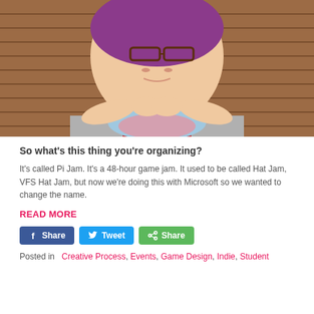[Figure (photo): A young woman with purple hair and glasses, wearing a red vest and colorful scarf, resting her chin on crossed hands in front of a brick wall background.]
So what's this thing you're organizing?
It's called Pi Jam. It's a 48-hour game jam. It used to be called Hat Jam, VFS Hat Jam, but now we're doing this with Microsoft so we wanted to change the name.
READ MORE
[Figure (other): Social share buttons: Facebook Share, Twitter Tweet, Generic Share]
Posted in   Creative Process, Events, Game Design, Indie, Student